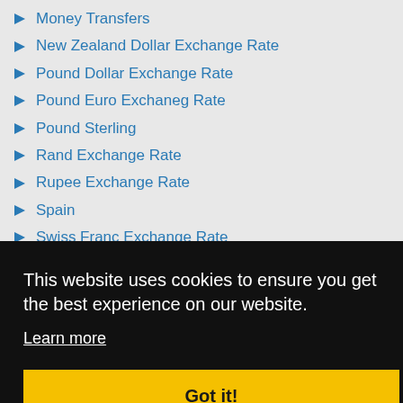Money Transfers
New Zealand Dollar Exchange Rate
Pound Dollar Exchange Rate
Pound Euro Exchaneg Rate
Pound Sterling
Rand Exchange Rate
Rupee Exchange Rate
Spain
Swiss Franc Exchange Rate
UK
Yen Exchange Rate (partial/truncated)
This website uses cookies to ensure you get the best experience on our website.
Learn more
Got it!
Money Transfer to Japan (partial)